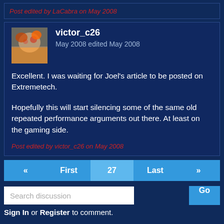Post edited by LaCabra on May 2008
victor_c26
May 2008 edited May 2008
Excellent. I was waiting for Joel's article to be posted on Extremetech.

Hopefully this will start silencing some of the same old repeated performance arguments out there. At least on the gaming side.
Post edited by victor_c26 on May 2008
« First 27 Last »
Search discussion
Go
Sign In or Register to comment.